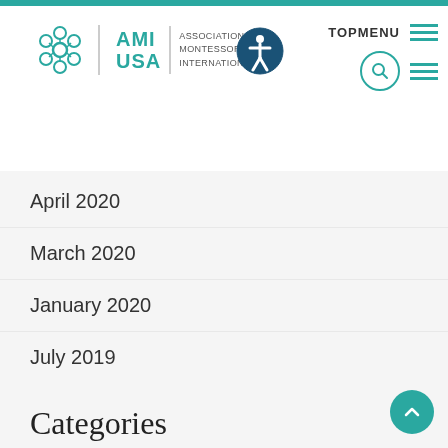AMI USA | Association Montessori International — TOPMENU
April 2020
March 2020
January 2020
July 2019
Categories
Articles
Books
Events
Info